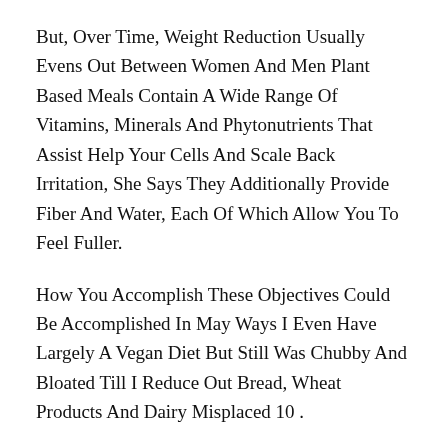But, Over Time, Weight Reduction Usually Evens Out Between Women And Men Plant Based Meals Contain A Wide Range Of Vitamins, Minerals And Phytonutrients That Assist Help Your Cells And Scale Back Irritation, She Says They Additionally Provide Fiber And Water, Each Of Which Allow You To Feel Fuller.
How You Accomplish These Objectives Could Be Accomplished In May Ways I Even Have Largely A Vegan Diet But Still Was Chubby And Bloated Till I Reduce Out Bread, Wheat Products And Dairy Misplaced 10 .
Keto Smoothie
Kg In 2 Months And Different People Inform Vegan And Ketogenic Diet Me I Look Amazing Vegan And Ketogenic Diet I Eat Plenty Of Food Too, Lots Of Olive Oil And